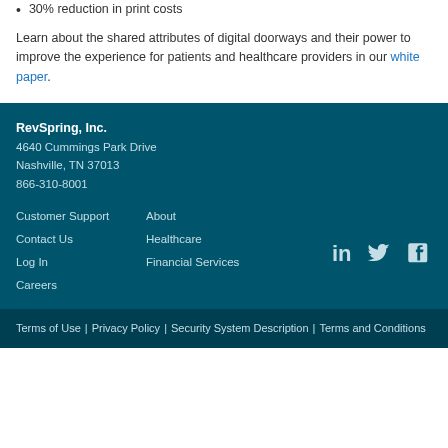30% reduction in print costs
Learn about the shared attributes of digital doorways and their power to improve the experience for patients and healthcare providers in our white paper.
RevSpring, Inc.
4640 Cummings Park Drive
Nashville, TN 37013
866-310-8001
Customer Support
Contact Us
Log In
Careers
About
Healthcare
Financial Services
[Figure (logo): LinkedIn, Twitter, and Facebook social media icons in teal/white]
Terms of Use | Privacy Policy | Security System Description | Terms and Conditions